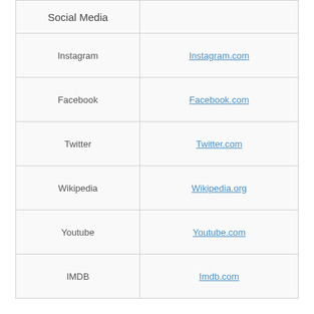| Social Media |  |
| --- | --- |
| Instagram | Instagram.com |
| Facebook | Facebook.com |
| Twitter | Twitter.com |
| Wikipedia | Wikipedia.org |
| Youtube | Youtube.com |
| IMDB | Imdb.com |